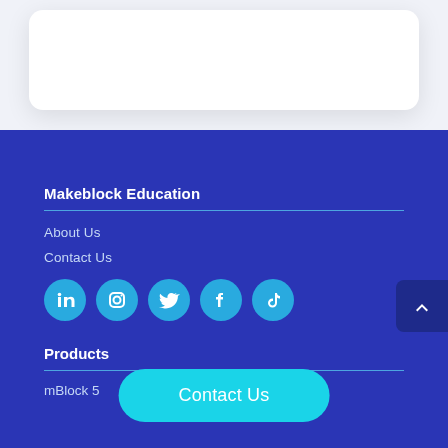[Figure (other): White rounded card on light gray background at top of page]
Makeblock Education
About Us
Contact Us
[Figure (infographic): Row of social media icons: LinkedIn, Instagram, Twitter, Facebook, TikTok — all cyan circles on blue background]
Products
mBlock 5
Contact Us